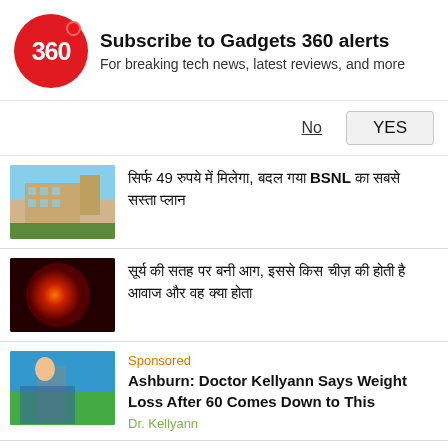[Figure (logo): Gadgets 360 logo — red circle with white '360' text and small red dot]
Subscribe to Gadgets 360 alerts
For breaking tech news, latest reviews, and more
No   YES
[Hindi text] 49 [Hindi text], [Hindi text] BSNL [Hindi text] [Hindi text]
[Hindi text], [Hindi text] [Hindi text] [Hindi text]
Sponsored
Ashburn: Doctor Kellyann Says Weight Loss After 60 Comes Down to This
Dr. Kellyann
[Hindi text], 10 [Hindi text] [Hindi text] [Hindi text] 2 [Hindi text] [Hindi text] 7 [Hindi text] [Hindi text] [Hindi text], [Hindi text] [Hindi text] [Hindi text]